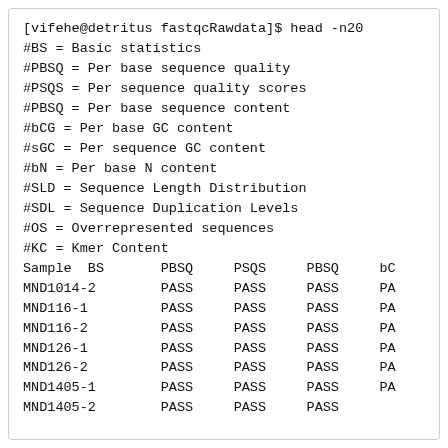[vifehe@detritus fastqcRawdata]$ head -n20
#BS = Basic statistics
#PBSQ = Per base sequence quality
#PSQS = Per sequence quality scores
#PBSQ = Per base sequence content
#bCG = Per base GC content
#sGC = Per sequence GC content
#bN = Per base N content
#SLD = Sequence Length Distribution
#SDL = Sequence Duplication Levels
#OS = Overrepresented sequences
#KC = Kmer Content
Sample  BS       PBSQ     PSQS     PBSQ     b(
MND1014-2        PASS     PASS     PASS     P.
MND116-1         PASS     PASS     PASS     P.
MND116-2         PASS     PASS     PASS     P.
MND126-1         PASS     PASS     PASS     P.
MND126-2         PASS     PASS     PASS     P.
MND1405-1        PASS     PASS     PASS     P.
MND1405-2        PASS     PASS     PASS